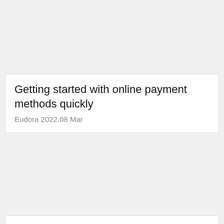Getting started with online payment methods quickly
Eudora 2022.08 Mar
Learn How To Use An Android Pay App, No Cash - Here's What You Need
Nov 2022.08 Jun